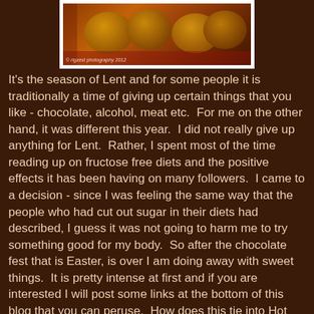[Figure (photo): Photo of hot cross buns on a red cloth background with copyright watermark 'rigzest photography 2012']
It's the season of Lent and for some people it is traditionally a time of giving up certain things that you like - chocolate, alcohol, meat etc.  For me on the other hand, it was different this year.  I did not really give up anything for Lent.  Rather, I spent most of the time reading up on fructose free diets and the positive effects it has been having on many followers.  I came to a decision - since I was feeling the same way that the people who had cut out sugar in their diets had described, I guess it was not going to harm me to try something good for my body.  So after the chocolate fest that is Easter, is over I am doing away with sweet things.  It is pretty intense at first and if you are interested I will post some links at the bottom of this blog that you can peruse.  How does this tie into Hot Cross Buns?  Well only a couple of colleagues at work were aware of my plans to abandon sugar, and one of them - Miss A was most kind to treat me to some of the best rated Hot Cross Buns in Melbourne, as a send off for my taste buds.  So after a week of Baker D. Chirico and Sugardough Bakery's finest, I decided to make